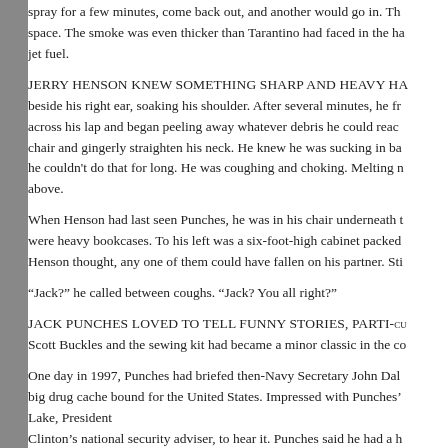spray for a few minutes, come back out, and another would go in. The space. The smoke was even thicker than Tarantino had faced in the ha jet fuel.
JERRY HENSON KNEW SOMETHING SHARP AND HEAVY HA beside his right ear, soaking his shoulder. After several minutes, he fr across his lap and began peeling away whatever debris he could reach chair and gingerly straighten his neck. He knew he was sucking in ba he couldn't do that for long. He was coughing and choking. Melting n above.
When Henson had last seen Punches, he was in his chair underneath t were heavy bookcases. To his left was a six-foot-high cabinet packed Henson thought, any one of them could have fallen on his partner. Sti
“Jack?” he called between coughs. “Jack? You all right?”
JACK PUNCHES LOVED TO TELL FUNNY STORIES, PARTI-cu Scott Buckles and the sewing kit had became a minor classic in the co
One day in 1997, Punches had briefed then-Navy Secretary John Dal big drug cache bound for the United States. Impressed with Punches’ Lake, President Clinton’s national security adviser, to hear it. Punches said he had a h